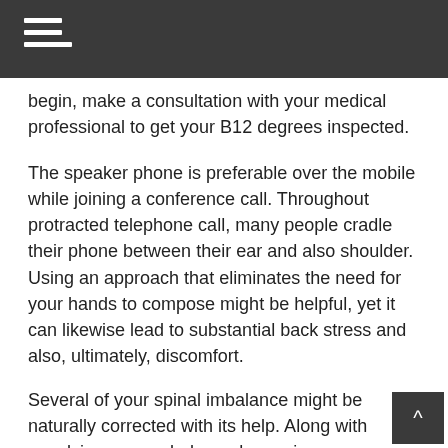≡ (hamburger menu icon)
begin, make a consultation with your medical professional to get your B12 degrees inspected.
The speaker phone is preferable over the mobile while joining a conference call. Throughout protracted telephone call, many people cradle their phone between their ear and also shoulder. Using an approach that eliminates the need for your hands to compose might be helpful, yet it can likewise lead to substantial back stress and also, ultimately, discomfort.
Several of your spinal imbalance might be naturally corrected with its help. Along with supplying a more balanced experience, yoga additionally assists in the relaxation and also extending of tight joints, tendo and also muscle mass. Almost every health club has